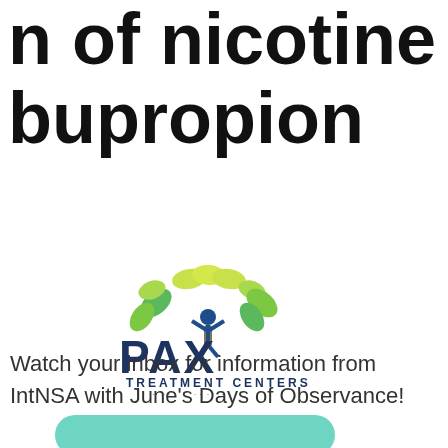n of nicotine to: bupropion
[Figure (logo): PAX Treatment Centers logo with green leaf tree and blue human figure, tagline 'do all things with kindness']
Watch your inbox for information from IntNSA with June's Days of Observance!